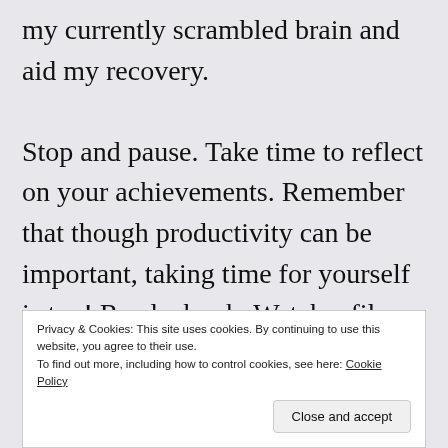my currently scrambled brain and aid my recovery.
Stop and pause. Take time to reflect on your achievements. Remember that though productivity can be important, taking time for yourself is too! Read a book. Watch a film. Meditate. Exercise. Speak to friends. Immerse yourself in nature. Whatever makes you happy in that moment. It may be an astonishingly simple formula, but life is about living in the present
Privacy & Cookies: This site uses cookies. By continuing to use this website, you agree to their use.
To find out more, including how to control cookies, see here: Cookie Policy
not to do something you now regret, however all you